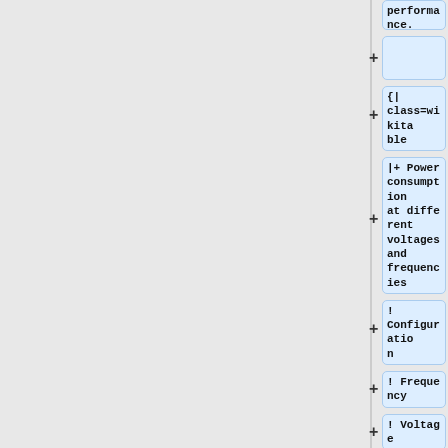performance.
+
{|
+class=wikitable
|+ Power consumption
+at different voltages and frequencies
!
+Configuration
+! Frequency
+! Voltage
+! Power (Screen 50%)
+|-